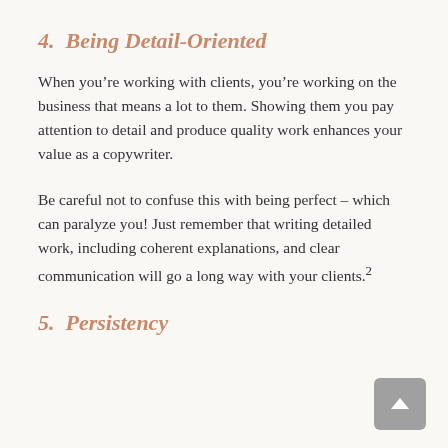4. Being Detail-Oriented
When you’re working with clients, you’re working on the business that means a lot to them. Showing them you pay attention to detail and produce quality work enhances your value as a copywriter.
Be careful not to confuse this with being perfect – which can paralyze you! Just remember that writing detailed work, including coherent explanations, and clear communication will go a long way with your clients.²
5. Persistency